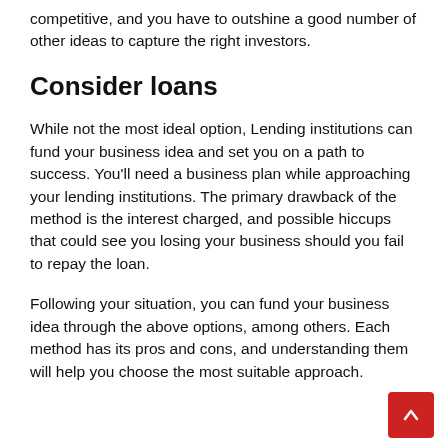competitive, and you have to outshine a good number of other ideas to capture the right investors.
Consider loans
While not the most ideal option, Lending institutions can fund your business idea and set you on a path to success. You'll need a business plan while approaching your lending institutions. The primary drawback of the method is the interest charged, and possible hiccups that could see you losing your business should you fail to repay the loan.
Following your situation, you can fund your business idea through the above options, among others. Each method has its pros and cons, and understanding them will help you choose the most suitable approach.